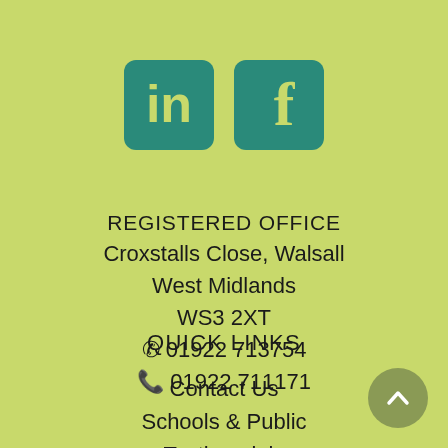[Figure (logo): LinkedIn and Facebook social media icons in teal/green rounded square buttons]
REGISTERED OFFICE
Croxstalls Close, Walsall
West Midlands
WS3 2XT
📞 01922 713754
📠 01922 711171
QUICK LINKS
Contact Us
Schools & Public
Testimonials
Privacy Policy